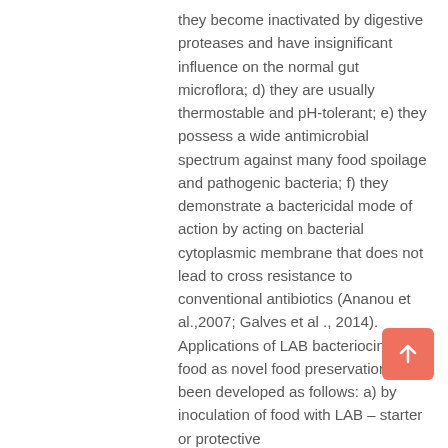they become inactivated by digestive proteases and have insignificant influence on the normal gut microflora; d) they are usually thermostable and pH-tolerant; e) they possess a wide antimicrobial spectrum against many food spoilage and pathogenic bacteria; f) they demonstrate a bactericidal mode of action by acting on bacterial cytoplasmic membrane that does not lead to cross resistance to conventional antibiotics (Ananou et al.,2007; Galves et al ., 2014). Applications of LAB bacteriocins in food as novel food preservation have been developed as follows: a) by inoculation of food with LAB – starter or protective